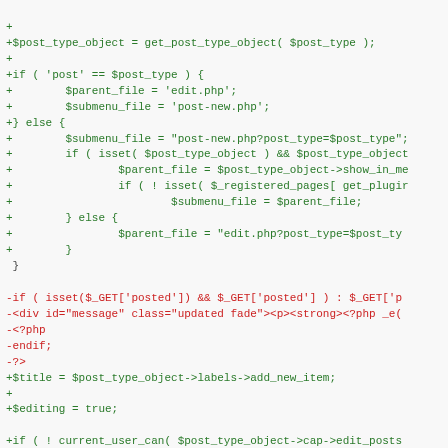[Figure (screenshot): A code diff view showing PHP code changes. Green lines prefixed with '+' indicate additions (new code), red lines prefixed with '-' indicate deletions (removed code). The code relates to WordPress post type handling, parent/submenu file assignment, and scheduling auto-draft cleanup.]